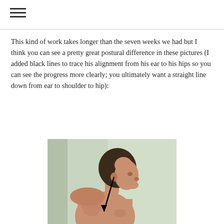≡ (navigation menu icon)
This kind of work takes longer than the seven weeks we had but I think you can see a pretty great postural difference in these pictures (I added black lines to trace his alignment from his ear to his hips so you can see the progress more clearly; you ultimately want a straight line down from ear to shoulder to hip):
[Figure (photo): Side profile photo of a shirtless man showing posture alignment. A black arrow/line is drawn from the ear down toward the hip area to illustrate postural alignment. The background is a light green-grey color.]